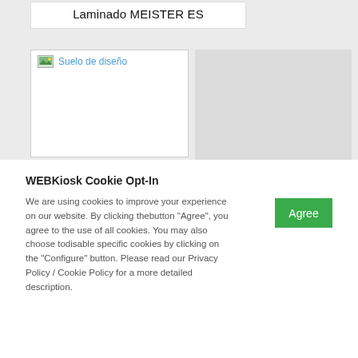Laminado MEISTER ES
[Figure (screenshot): Broken image placeholder with link text 'Suelo de diseño' in blue, with white image area below]
WEBKiosk Cookie Opt-In
We are using cookies to improve your experience on our website. By clicking thebutton "Agree", you agree to the use of all cookies. You may also choose todisable specific cookies by clicking on the "Configure" button. Please read our Privacy Policy / Cookie Policy for a more detailed description.